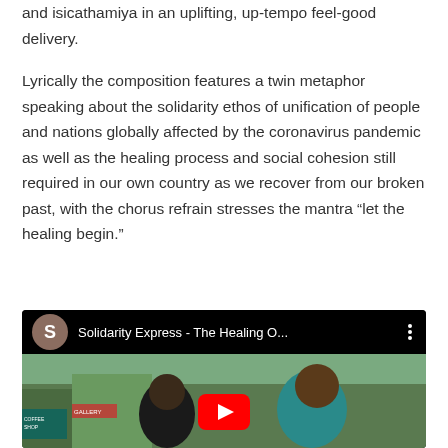and isicathamiya in an uplifting, up-tempo feel-good delivery.
Lyrically the composition features a twin metaphor speaking about the solidarity ethos of unification of people and nations globally affected by the coronavirus pandemic as well as the healing process and social cohesion still required in our own country as we recover from our broken past, with the chorus refrain stresses the mantra “let the healing begin.”
[Figure (screenshot): YouTube video thumbnail showing 'Solidarity Express - The Healing O...' with avatar circle showing 'S', two people visible in the thumbnail image, and YouTube play button overlay.]